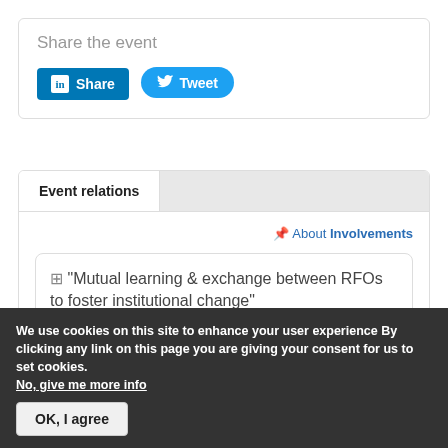Share the event
[Figure (infographic): LinkedIn Share button and Twitter Tweet button]
Event relations
About Involvements
"Mutual learning & exchange between RFOs to foster institutional change"
We use cookies on this site to enhance your user experience By clicking any link on this page you are giving your consent for us to set cookies. No, give me more info
OK, I agree